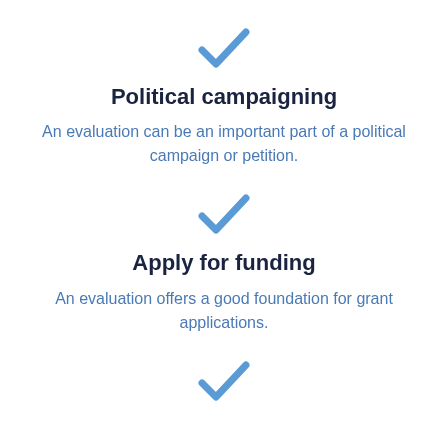[Figure (illustration): Blue checkmark icon]
Political campaigning
An evaluation can be an important part of a political campaign or petition.
[Figure (illustration): Blue checkmark icon]
Apply for funding
An evaluation offers a good foundation for grant applications.
[Figure (illustration): Blue checkmark icon]